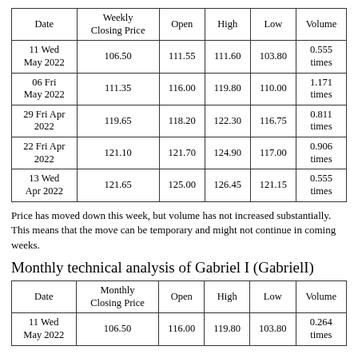| Date | Weekly Closing Price | Open | High | Low | Volume |
| --- | --- | --- | --- | --- | --- |
| 11 Wed May 2022 | 106.50 | 111.55 | 111.60 | 103.80 | 0.555 times |
| 06 Fri May 2022 | 111.35 | 116.00 | 119.80 | 110.00 | 1.171 times |
| 29 Fri Apr 2022 | 119.65 | 118.20 | 122.30 | 116.75 | 0.811 times |
| 22 Fri Apr 2022 | 121.10 | 121.70 | 124.90 | 117.00 | 0.906 times |
| 13 Wed Apr 2022 | 121.65 | 125.00 | 126.45 | 121.15 | 0.555 times |
Price has moved down this week, but volume has not increased substantially. This means that the move can be temporary and might not continue in coming weeks.
Monthly technical analysis of Gabriel I (GabrielI)
| Date | Monthly Closing Price | Open | High | Low | Volume |
| --- | --- | --- | --- | --- | --- |
| 11 Wed May 2022 | 106.50 | 116.00 | 119.80 | 103.80 | 0.264 times |